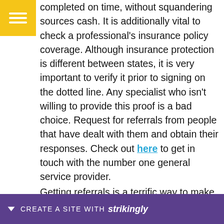completed on time, without squandering sources cash. It is additionally vital to check a professional's insurance policy coverage. Although insurance protection is different between states, it is very important to verify it prior to signing on the dotted line. Any specialist who isn't willing to provide this proof is a bad choice. Request for referrals from people that have dealt with them and obtain their responses. Check out here to get in touch with the number one general service provider.
Getting referrals is a terrific way to make certain your of doing
[Figure (screenshot): Strikingly website builder promotional bar at the bottom of the page with purple background, showing 'CREATE A SITE WITH strikingly']